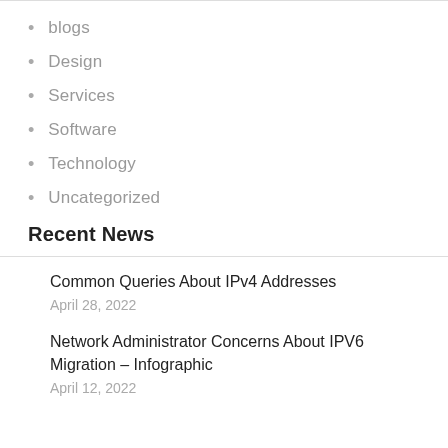blogs
Design
Services
Software
Technology
Uncategorized
Recent News
Common Queries About IPv4 Addresses
April 28, 2022
Network Administrator Concerns About IPV6 Migration – Infographic
April 12, 2022